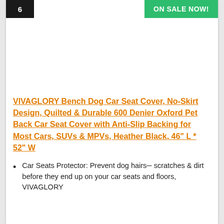6
ON SALE NOW!
[Figure (photo): Product image placeholder area (white space)]
VIVAGLORY Bench Dog Car Seat Cover, No-Skirt Design, Quilted & Durable 600 Denier Oxford Pet Back Car Seat Cover with Anti-Slip Backing for Most Cars, SUVs & MPVs, Heather Black, 46" L * 52" W
Car Seats Protector: Prevent dog hairs, scratches & dirt before they end up on your car seats and floors, VIVAGLORY